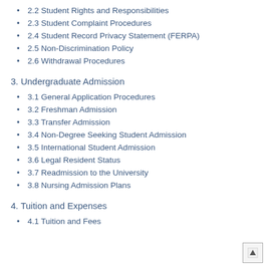2.2 Student Rights and Responsibilities
2.3 Student Complaint Procedures
2.4 Student Record Privacy Statement (FERPA)
2.5 Non-Discrimination Policy
2.6 Withdrawal Procedures
3. Undergraduate Admission
3.1 General Application Procedures
3.2 Freshman Admission
3.3 Transfer Admission
3.4 Non-Degree Seeking Student Admission
3.5 International Student Admission
3.6 Legal Resident Status
3.7 Readmission to the University
3.8 Nursing Admission Plans
4. Tuition and Expenses
4.1 Tuition and Fees